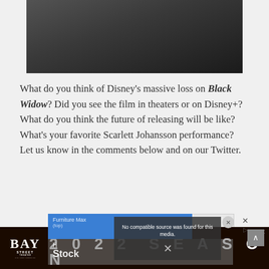[Figure (photo): Dark photograph at top showing silhouetted figures]
What do you think of Disney's massive loss on Black Widow?  Did you see the film in theaters or on Disney+?  What do you think the future of releasing will be like?  What's your favorite Scarlett Johansson performance?  Let us know in the comments below and on our Twitter.
[Figure (screenshot): Advertisement overlay showing Furniture Max ad with blue header, partially overlapped by a 'No compatible source was found for this media.' error message with an X button, over a dark background image. Below is a bottom banner ad for Bay Street Theater 2022 Season.]
[Figure (screenshot): Bay Street Theater banner ad: WELCOME BACK TO THE SPOTLIGHT 2022 SEASON on dark background]